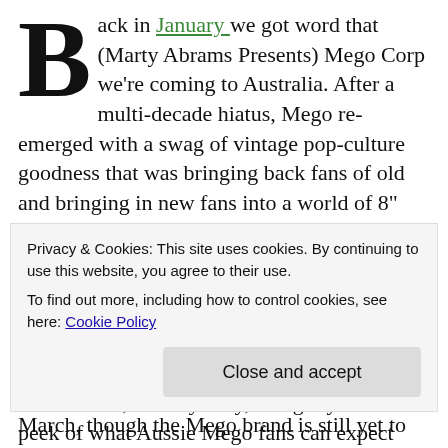Back in January we got word that (Marty Abrams Presents) Mego Corp we're coming to Australia. After a multi-decade hiatus, Mego re-emerged with a swag of vintage pop-culture goodness that was bringing back fans of old and bringing in new fans into a world of 8" and 14" figures with licenses from Charlie's Angels to KISS, Brady Bunch to Jimi Hendrix.
All we knew back in January was that Mego were in talks with a local distributor and that was it. Now, in early May, I've got your sneak peek of what Aussie Mego fans can expect and when to expect it!
Privacy & Cookies: This site uses cookies. By continuing to use this website, you agree to their use.
To find out more, including how to control cookies, see here: Cookie Policy
Close and accept
March, though the Mego brand is still yet to be listed